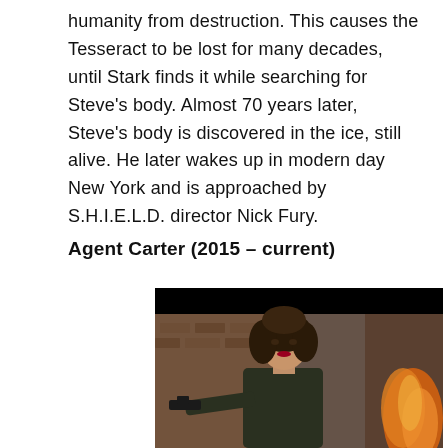humanity from destruction. This causes the Tesseract to be lost for many decades, until Stark finds it while searching for Steve's body. Almost 70 years later, Steve's body is discovered in the ice, still alive. He later wakes up in modern day New York and is approached by S.H.I.E.L.D. director Nick Fury.
Agent Carter (2015 – current)
[Figure (photo): A woman holding a gun, pointing it toward the viewer. She has brown curly hair and is wearing a dark jacket. There is a black bar at the top of the image and fire/flames visible in the background to the right.]